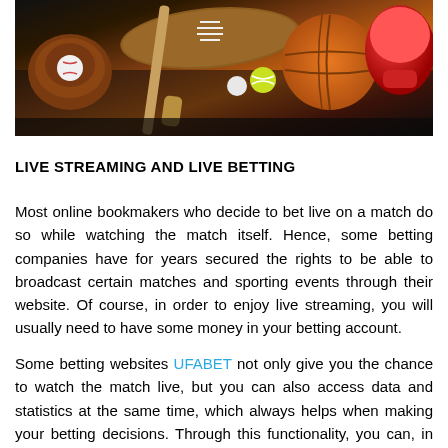[Figure (photo): Sports equipment photo showing baseball glove, football, basketball, boxing glove, baseball bat, tennis ball, golf ball on dark reflective surface]
LIVE STREAMING AND LIVE BETTING
Most online bookmakers who decide to bet live on a match do so while watching the match itself. Hence, some betting companies have for years secured the rights to be able to broadcast certain matches and sporting events through their website. Of course, in order to enjoy live streaming, you will usually need to have some money in your betting account.
Some betting websites UFABET not only give you the chance to watch the match live, but you can also access data and statistics at the same time, which always helps when making your betting decisions. Through this functionality, you can, in football, for example, see which team has created the most